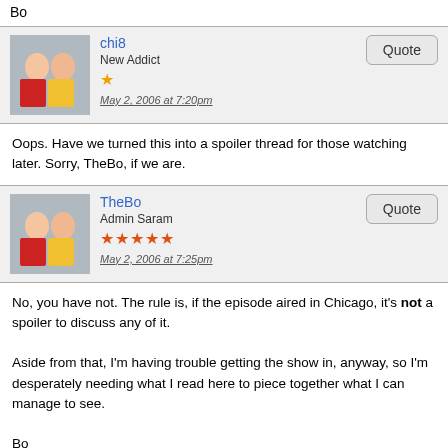Bo
chi8
New Addict
May 2, 2006 at 7:20pm
Oops. Have we turned this into a spoiler thread for those watching later. Sorry, TheBo, if we are.
TheBo
Admin Saram
May 2, 2006 at 7:25pm
No, you have not. The rule is, if the episode aired in Chicago, it's not a spoiler to discuss any of it.

Aside from that, I'm having trouble getting the show in, anyway, so I'm desperately needing what I read here to piece together what I can manage to see.

Bo
Ducky
Wang